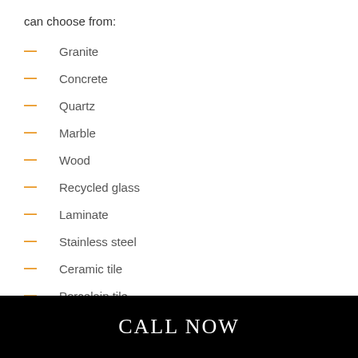can choose from:
Granite
Concrete
Quartz
Marble
Wood
Recycled glass
Laminate
Stainless steel
Ceramic tile
Porcelain tile
And so much more.
CALL NOW